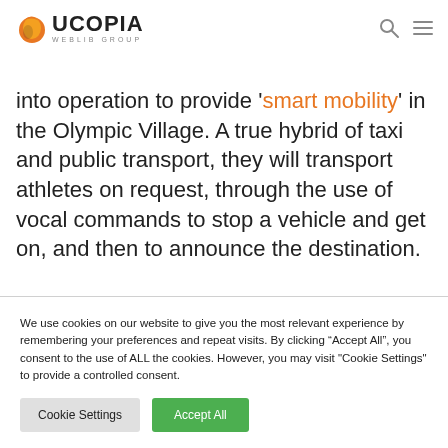UCOPIA WEBLIB GROUP
into operation to provide 'smart mobility' in the Olympic Village. A true hybrid of taxi and public transport, they will transport athletes on request, through the use of vocal commands to stop a vehicle and get on, and then to announce the destination.
We use cookies on our website to give you the most relevant experience by remembering your preferences and repeat visits. By clicking “Accept All”, you consent to the use of ALL the cookies. However, you may visit "Cookie Settings" to provide a controlled consent.